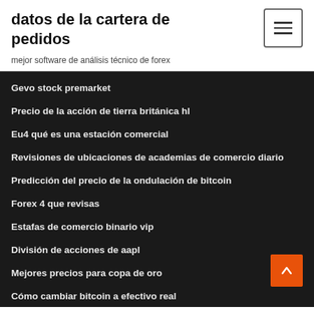datos de la cartera de pedidos
mejor software de análisis técnico de forex
Gevo stock premarket
Precio de la acción de tierra británica hl
Eu4 qué es una estación comercial
Revisiones de ubicaciones de academias de comercio diario
Predicción del precio de la ondulación de bitcoin
Forex 4 que revisas
Estafas de comercio binario vip
División de acciones de aapl
Mejores precios para copa de oro
Cómo cambiar bitcoin a efectivo real